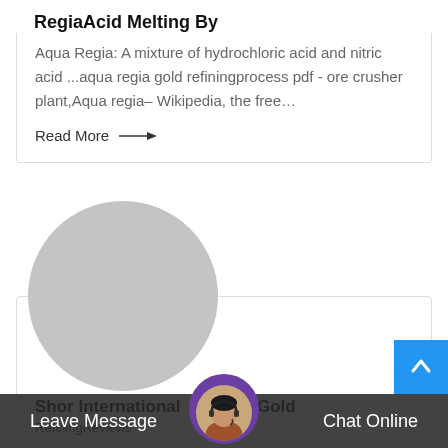RegiaAcid Melting By
Aqua Regia: A mixture of hydrochloric acid and nitric acid ...aqua regia gold refiningprocess pdf - ore crusher plant,Aqua regia– Wikipedia, the free…
Read More →
[Figure (photo): Large circular gray placeholder image]
Shor International cityGold
RefiningReviews
Leave Message   Chat Online